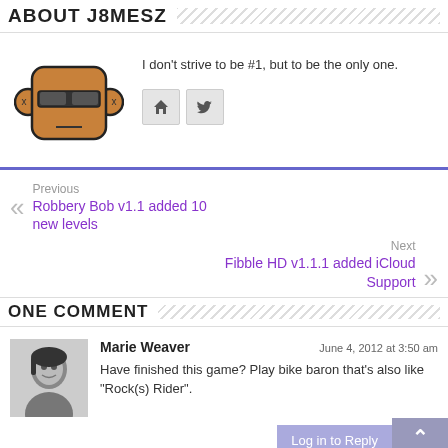ABOUT J8MESZ
[Figure (illustration): Cartoon robot/monkey avatar with sunglasses, brown color, square head]
I don't strive to be #1, but to be the only one.
[Figure (other): Social icons: home icon and Twitter bird icon]
Previous
Robbery Bob v1.1 added 10 new levels
Next
Fibble HD v1.1.1 added iCloud Support
ONE COMMENT
[Figure (photo): Black and white photo of Marie Weaver, a woman with dark hair]
Marie Weaver
June 4, 2012 at 3:50 am
Have finished this game? Play bike baron that’s also like “Rock(s) Rider”.
Log in to Reply